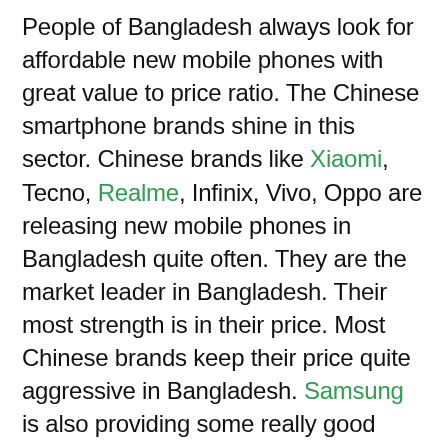People of Bangladesh always look for affordable new mobile phones with great value to price ratio. The Chinese smartphone brands shine in this sector. Chinese brands like Xiaomi, Tecno, Realme, Infinix, Vivo, Oppo are releasing new mobile phones in Bangladesh quite often. They are the market leader in Bangladesh. Their most strength is in their price. Most Chinese brands keep their price quite aggressive in Bangladesh. Samsung is also providing some really good phones. Premium & flagship phones price in Bangladesh has not changed that much. Apple iPhone and Samsung flagship phones are leaders in this sector. Flagship phone market is experiencing a subtle growth in Bangladesh. Past few years, iPhones and Samsung Galaxy Folds have become a go-to choice for premium buyers. OnePlus & Vivo are trying to capture some of the flagship mobile phone market in Bangladesh.